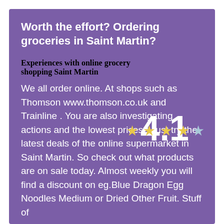Worth the effort? Ordering groceries in Saint Martin?
Experiences with online grocery shopping Saint Martin
4.1
★★★★☆
We all order online. At shops such as Thomson www.thomson.co.uk and Trainline . You are also investigating actions and the lowest prices? Just try the latest deals of the online supermarket in Saint Martin. So check out what products are on sale today. Almost weekly you will find a discount on eg.Blue Dragon Egg Noodles Medium or Dried Other Fruit. Stuff of